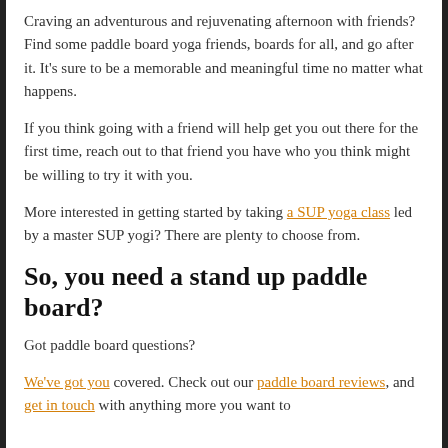Craving an adventurous and rejuvenating afternoon with friends? Find some paddle board yoga friends, boards for all, and go after it. It's sure to be a memorable and meaningful time no matter what happens.
If you think going with a friend will help get you out there for the first time, reach out to that friend you have who you think might be willing to try it with you.
More interested in getting started by taking a SUP yoga class led by a master SUP yogi? There are plenty to choose from.
So, you need a stand up paddle board?
Got paddle board questions?
We've got you covered. Check out our paddle board reviews, and get in touch with anything more you want to